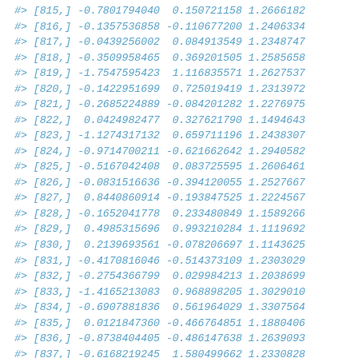#> [815,] -0.7801794040  0.150721158 1.2666182
#> [816,] -0.1357536858 -0.110677200 1.2406334
#> [817,] -0.0439256002  0.084913549 1.2348747
#> [818,] -0.3509958465  0.369201505 1.2585658
#> [819,] -1.7547595423  1.116835571 1.2627537
#> [820,] -0.1422951699  0.725019419 1.2313972
#> [821,] -0.2685224889 -0.084201282 1.2276975
#> [822,]  0.0424982477  0.327621790 1.1494643
#> [823,] -1.1274317132  0.659711196 1.2438307
#> [824,] -0.9714700211 -0.621662642 1.2940582
#> [825,] -0.5167042408  0.083725595 1.2606461
#> [826,] -0.0831516636 -0.394120055 1.2527667
#> [827,]  0.8440860914 -0.193847525 1.2224567
#> [828,] -0.1652041778  0.233480849 1.1589266
#> [829,]  0.4985315696  0.993210284 1.1119692
#> [830,]  0.2139693561 -0.078206697 1.1143625
#> [831,] -0.4170816046 -0.514373109 1.2303029
#> [832,] -0.2754366799  0.029984213 1.2038699
#> [833,] -1.4165213083  0.968898205 1.3029010
#> [834,] -0.6907881836  0.561964029 1.3307564
#> [835,]  0.0121847360 -0.466764851 1.1880406
#> [836,] -0.8738404405 -0.486147638 1.2639093
#> [837,] -0.6168219245  1.580499662 1.2330828
#> [838,] -0.3010204566 -1.181257788 1.2023827